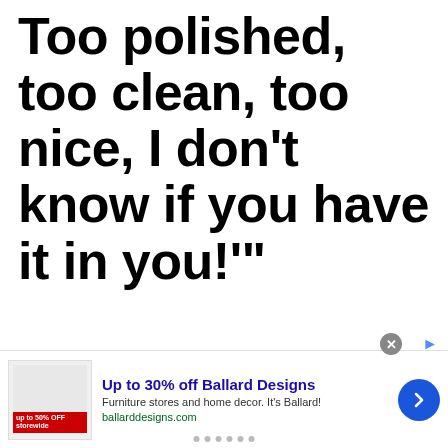Too polished, too clean, too nice, I don't know if you have it in you!'"
[Figure (other): Advertisement banner for Ballard Designs: 'Up to 30% off Ballard Designs. Furniture stores and home decor. It's Ballard! ballarddesigns.com' with a product image showing 'up to 50% OFF' sale, a close button, and a navigation arrow button.]